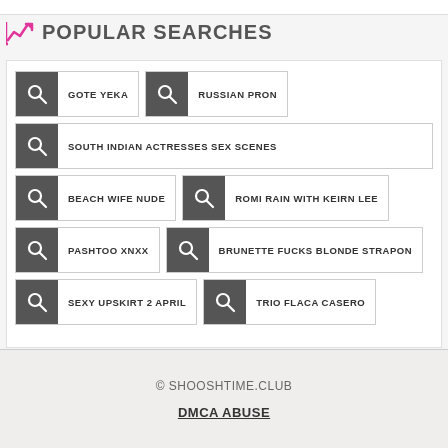POPULAR SEARCHES
GOTE YEKA
RUSSIAN PRON
SOUTH INDIAN ACTRESSES SEX SCENES
BEACH WIFE NUDE
ROMI RAIN WITH KEIRN LEE
PASHTOO XNXX
BRUNETTE FUCKS BLONDE STRAPON
SEXY UPSKIRT 2 APRIL
TRIO FLACA CASERO
© SHOOSHTIME.CLUB
DMCA ABUSE